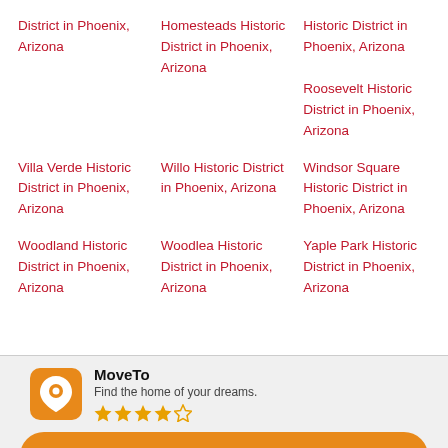District in Phoenix, Arizona
Homesteads Historic District in Phoenix, Arizona
Historic District in Phoenix, Arizona Roosevelt Historic District in Phoenix, Arizona
Villa Verde Historic District in Phoenix, Arizona
Willo Historic District in Phoenix, Arizona
Windsor Square Historic District in Phoenix, Arizona
Woodland Historic District in Phoenix, Arizona
Woodlea Historic District in Phoenix, Arizona
Yaple Park Historic District in Phoenix, Arizona
MoveTo
Find the home of your dreams.
★★★★☆
Use App